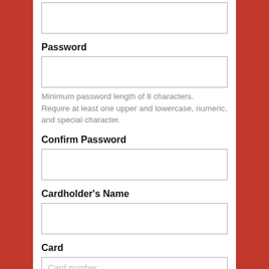[Figure (screenshot): Form input field (top, partially visible, no label visible)]
Password
[Figure (screenshot): Password input field]
Minimum password length of 8 characters. Require at least one upper and lowercase, numeric, and special character.
Confirm Password
[Figure (screenshot): Confirm Password input field]
Cardholder's Name
[Figure (screenshot): Cardholder's Name input field]
Card
[Figure (screenshot): Card number input field (partially visible) with placeholder text 'Card number']